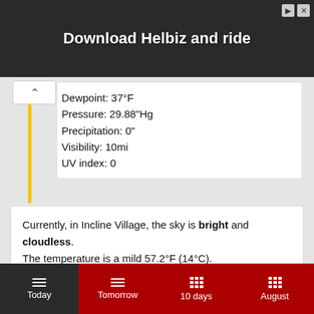[Figure (screenshot): Advertisement banner with dark background showing 'Download Helbiz and ride' text with a scooter image, and close/skip buttons in top right]
Dewpoint: 37°F
Pressure: 29.88"Hg
Precipitation: 0"
Visibility: 10mi
UV index: 0
Currently, in Incline Village, the sky is bright and cloudless.
The temperature is a mild 57.2°F (14°C).
FAQ
Today  Tomorrow  10 days  August